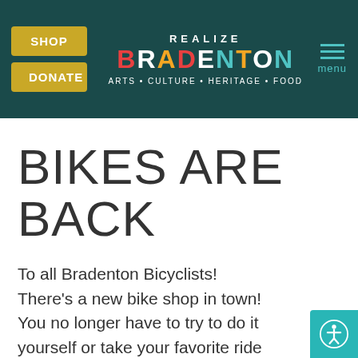[Figure (logo): Realize Bradenton logo with SHOP and DONATE buttons on dark teal background header, with hamburger menu icon and 'menu' label]
BIKES ARE BACK
To all Bradenton Bicyclists! There's a new bike shop in town! You no longer have to try to do it yourself or take your favorite ride out of town for repairs and